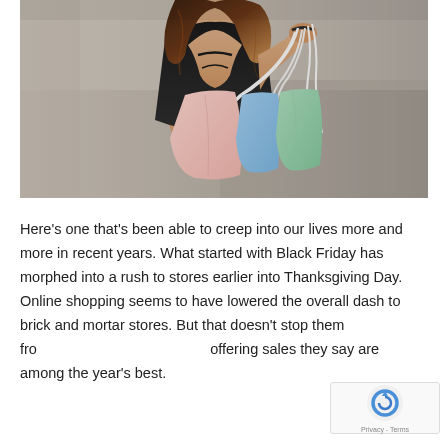[Figure (photo): Woman from behind holding multiple colorful shopping bags (pink, blue, green) with white handles, walking on a blurred street background]
Here's one that's been able to creep into our lives more and more in recent years. What started with Black Friday has morphed into a rush to stores earlier into Thanksgiving Day. Online shopping seems to have lowered the overall dash to brick and mortar stores. But that doesn't stop them from offering sales they say are among the year's best.